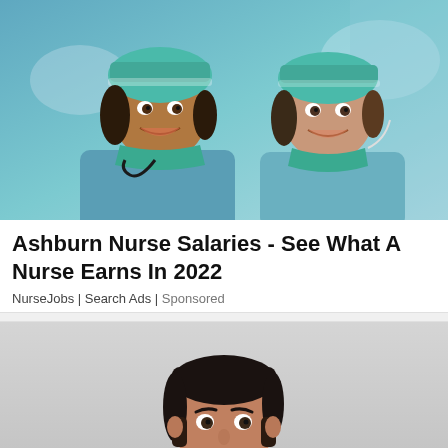[Figure (photo): Two female nurses in surgical scrubs and teal/green surgical caps smiling at the camera in a hospital setting]
Ashburn Nurse Salaries - See What A Nurse Earns In 2022
NurseJobs | Search Ads | Sponsored
[Figure (photo): Young man with dark hair against a light gray background, partial view showing head and upper body]